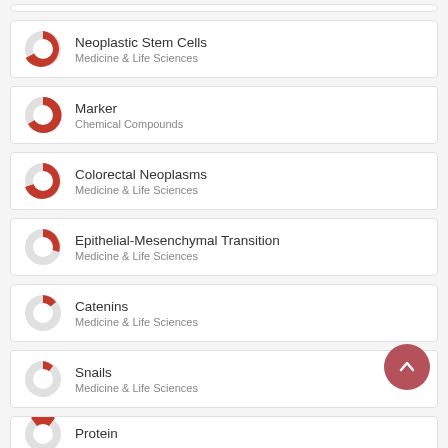Neoplastic Stem Cells — Medicine & Life Sciences
Marker — Chemical Compounds
Colorectal Neoplasms — Medicine & Life Sciences
Epithelial-Mesenchymal Transition — Medicine & Life Sciences
Catenins — Medicine & Life Sciences
Snails — Medicine & Life Sciences
Protein